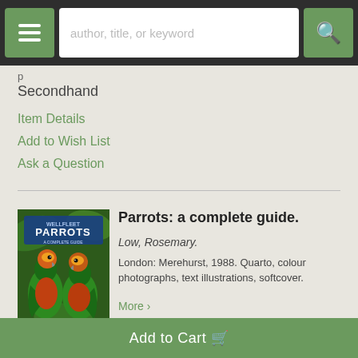author, title, or keyword
p
Secondhand
Item Details
Add to Wish List
Ask a Question
[Figure (photo): Book cover: Parrots: A Complete Guide by Rosemary Low, showing two colorful parrots on a green background]
Parrots: a complete guide.
Low, Rosemary.
London: Merehurst, 1988. Quarto, colour photographs, text illustrations, softcover.
More >
Add to Cart